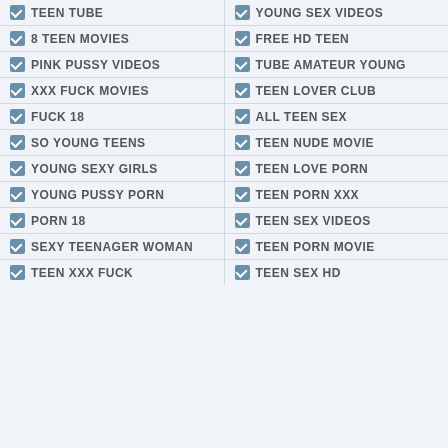TEEN TUBE
YOUNG SEX VIDEOS
8 TEEN MOVIES
FREE HD TEEN
PINK PUSSY VIDEOS
TUBE AMATEUR YOUNG
XXX FUCK MOVIES
TEEN LOVER CLUB
FUCK 18
ALL TEEN SEX
SO YOUNG TEENS
TEEN NUDE MOVIE
YOUNG SEXY GIRLS
TEEN LOVE PORN
YOUNG PUSSY PORN
TEEN PORN XXX
PORN 18
TEEN SEX VIDEOS
SEXY TEENAGER WOMAN
TEEN PORN MOVIE
TEEN XXX FUCK
TEEN SEX HD